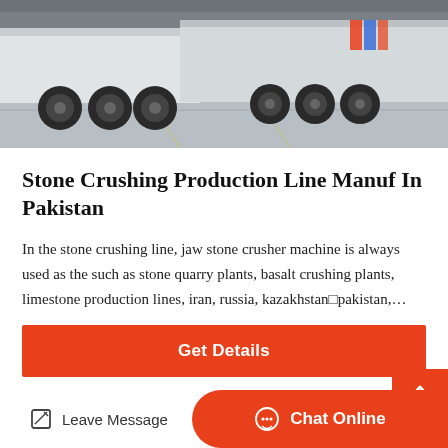[Figure (photo): Photograph of heavy trucks/semi-trailers parked in a warehouse or yard, showing large wheels and vehicle bodies from a low angle]
Stone Crushing Production Line Manuf In Pakistan
In the stone crushing line, jaw stone crusher machine is always used as the such as stone quarry plants, basalt crushing plants, limestone production lines, iran, russia, kazakhstan■pakistan,…
Get Details
[Figure (photo): Photograph of an industrial building interior/exterior with steel structures and beams visible]
Leave Message
Chat Online